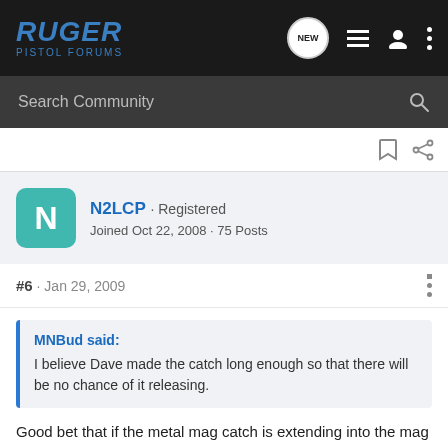RUGER PISTOL FORUMS
Search Community
N2LCP · Registered
Joined Oct 22, 2008 · 75 Posts
#6 · Jan 29, 2009
MNBud said:
I believe Dave made the catch long enough so that there will be no chance of it releasing.
Good bet that if the metal mag catch is extending into the mag well sufficiently to provide complete positive retention and with enough grab so that the mag will not get pulled out by downward force exerted by the finger extension, it would have